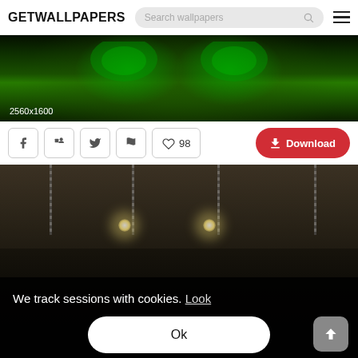GETWALLPAPERS — Search wallpapers
[Figure (photo): Dark green textured wallpaper with glowing green eyes or circles, resolution label 2560x1600]
2560x1600
♥ 98   Download
[Figure (photo): Dark dungeon/castle interior wallpaper with chains, stone walls, and glowing torches/lights. Cookie consent overlay with text 'We track sessions with cookies. Look' and Ok button.]
We track sessions with cookies.  Look
Ok